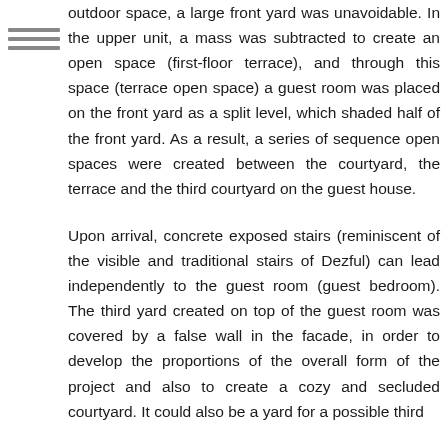outdoor space, a large front yard was unavoidable. In the upper unit, a mass was subtracted to create an open space (first-floor terrace), and through this space (terrace open space) a guest room was placed on the front yard as a split level, which shaded half of the front yard. As a result, a series of sequence open spaces were created between the courtyard, the terrace and the third courtyard on the guest house.
Upon arrival, concrete exposed stairs (reminiscent of the visible and traditional stairs of Dezful) can lead independently to the guest room (guest bedroom). The third yard created on top of the guest room was covered by a false wall in the facade, in order to develop the proportions of the overall form of the project and also to create a cozy and secluded courtyard. It could also be a yard for a possible third